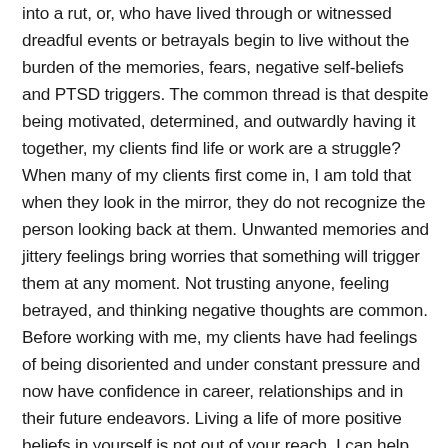into a rut, or, who have lived through or witnessed dreadful events or betrayals begin to live without the burden of the memories, fears, negative self-beliefs and PTSD triggers. The common thread is that despite being motivated, determined, and outwardly having it together, my clients find life or work are a struggle? When many of my clients first come in, I am told that when they look in the mirror, they do not recognize the person looking back at them. Unwanted memories and jittery feelings bring worries that something will trigger them at any moment. Not trusting anyone, feeling betrayed, and thinking negative thoughts are common. Before working with me, my clients have had feelings of being disoriented and under constant pressure and now have confidence in career, relationships and in their future endeavors. Living a life of more positive beliefs in yourself is not out of your reach. I can help you get there by conquering PTSD triggers.